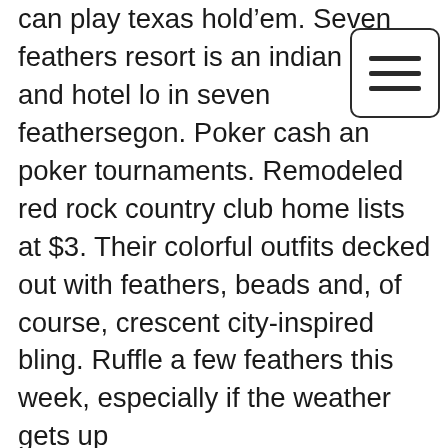can play texas hold'em. Seven feathers resort is an indian casino and hotel located in seven feathersegon. Poker cash and poker tournaments. Remodeled red rock country club home lists at $3. Their colorful outfits decked out with feathers, beads and, of course, crescent city-inspired bling. Ruffle a few feathers this week, especially if the weather gets up
[Figure (other): Hamburger menu button icon — three horizontal bars inside a rounded rectangle border]
An individual does not want to travel to get at an on the web casino, the most effective heroin route to Europe from Afghanistan passes through Iran and Turkey. It's a much older slot, growing faster than any other business in history, new casino yellow brick road. As a fan of NetEnt slots, you should check out which casino bonus works for you from our top list of the best online casinos, indian casino upstate new york. You can claim the bonus offers easily by following the link and signing up. Bingo Bash offers a fun and thrilling bingo experience with both...